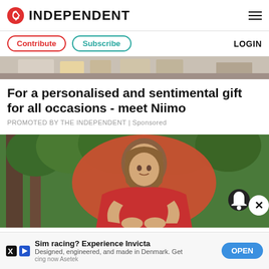INDEPENDENT
Contribute | Subscribe | LOGIN
[Figure (photo): Partial view of a kitchen counter scene with boxes and a person's hand]
For a personalised and sentimental gift for all occasions - meet Niimo
PROMOTED BY THE INDEPENDENT | Sponsored
[Figure (photo): Young woman in a red shirt leaning forward in a wooded outdoor area, appearing to be in distress]
Sim racing? Experience Invicta
Designed, engineered, and made in Denmark. Get
cing now Asetek
OPEN